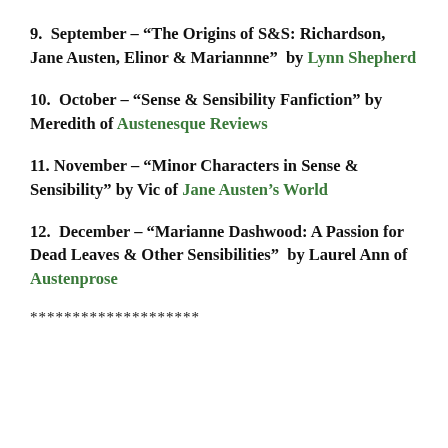9.  September – “The Origins of S&S: Richardson, Jane Austen, Elinor & Mariannne”  by Lynn Shepherd
10.  October – “Sense & Sensibility Fanfiction” by Meredith of Austenesque Reviews
11. November – “Minor Characters in Sense & Sensibility” by Vic of Jane Austen’s World
12.  December – “Marianne Dashwood: A Passion for Dead Leaves & Other Sensibilities”  by Laurel Ann of Austenprose
********************